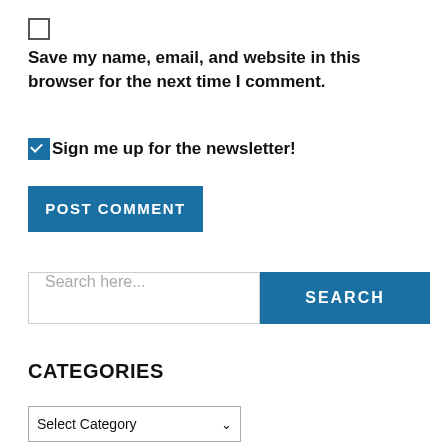Save my name, email, and website in this browser for the next time I comment.
Sign me up for the newsletter!
POST COMMENT
Search here...
SEARCH
CATEGORIES
Select Category
BLOG ARCHIVES